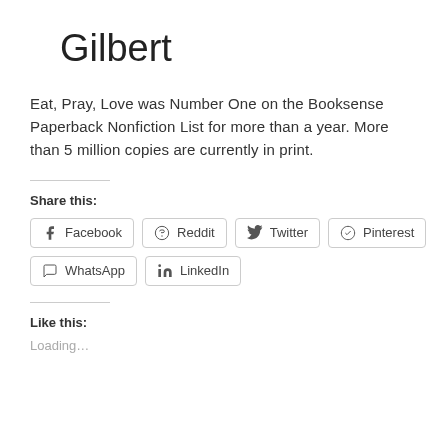Gilbert
Eat, Pray, Love was Number One on the Booksense Paperback Nonfiction List for more than a year. More than 5 million copies are currently in print.
Share this:
[Figure (other): Social share buttons: Facebook, Reddit, Twitter, Pinterest, WhatsApp, LinkedIn]
Like this:
Loading…